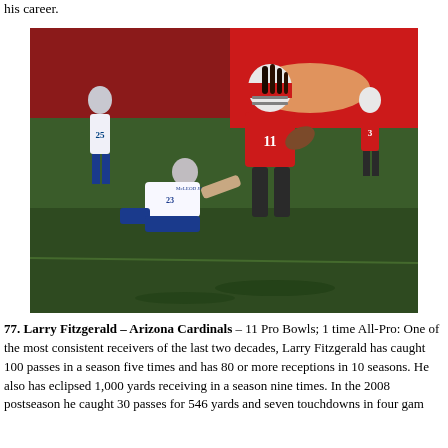his career.
[Figure (photo): Larry Fitzgerald #11 of the Arizona Cardinals running with the football while being tackled by a defender wearing #23 (McLeod Jr.) from an opposing team, with other players visible in the background on a green football field.]
77. Larry Fitzgerald – Arizona Cardinals – 11 Pro Bowls; 1 time All-Pro: One of the most consistent receivers of the last two decades, Larry Fitzgerald has caught 100 passes in a season five times and has 80 or more receptions in 10 seasons. He also has eclipsed 1,000 yards receiving in a season nine times. In the 2008 postseason he caught 30 passes for 546 yards and seven touchdowns in four gam